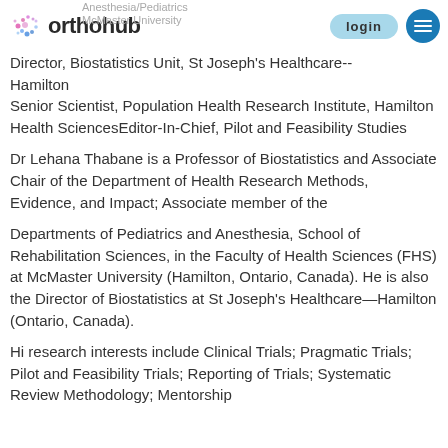orthohub
Anesthesia/Pediatrics
McMaster University
Director, Biostatistics Unit, St Joseph's Healthcare--Hamilton
Senior Scientist, Population Health Research Institute, Hamilton Health SciencesEditor-In-Chief, Pilot and Feasibility Studies
Dr Lehana Thabane is a Professor of Biostatistics and Associate Chair of the Department of Health Research Methods, Evidence, and Impact; Associate member of the
Departments of Pediatrics and Anesthesia, School of Rehabilitation Sciences, in the Faculty of Health Sciences (FHS) at McMaster University (Hamilton, Ontario, Canada). He is also the Director of Biostatistics at St Joseph's Healthcare—Hamilton (Ontario, Canada).
Hi research interests include Clinical Trials; Pragmatic Trials; Pilot and Feasibility Trials; Reporting of Trials; Systematic Review Methodology; Mentorship